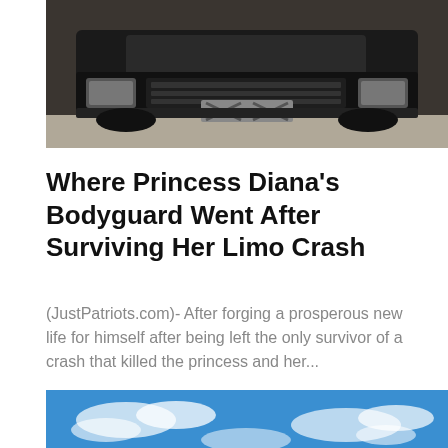[Figure (photo): Front view of a dark damaged limousine/car with a taped X on the license plate area]
Where Princess Diana's Bodyguard Went After Surviving Her Limo Crash
(JustPatriots.com)- After forging a prosperous new life for himself after being left the only survivor of a crash that killed the princess and her...
[Figure (photo): Exterior view of the White House with blue sky, clouds, and trees surrounding the building]